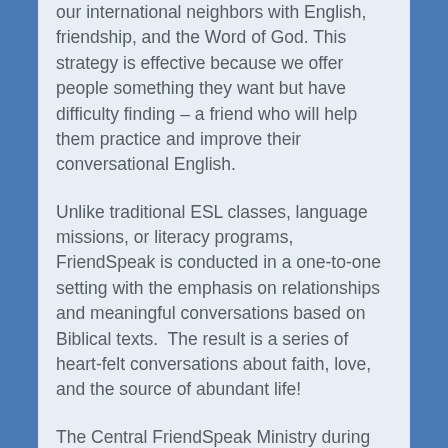our international neighbors with English, friendship, and the Word of God. This strategy is effective because we offer people something they want but have difficulty finding – a friend who will help them practice and improve their conversational English.
Unlike traditional ESL classes, language missions, or literacy programs, FriendSpeak is conducted in a one-to-one setting with the emphasis on relationships and meaningful conversations based on Biblical texts.  The result is a series of heart-felt conversations about faith, love, and the source of abundant life!
The Central FriendSpeak Ministry during the fall semester 2018 began a partnership with the International Program at Washburn University. This partnership has enabled our FriendSpeak workers to interact with international students in a variety of ways: transporting them from the airport, hosting a welcome to Kansas party, hosting a luncheon during orientation